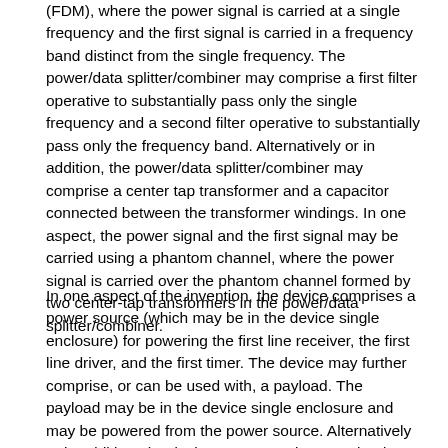(FDM), where the power signal is carried at a single frequency and the first signal is carried in a frequency band distinct from the single frequency. The power/data splitter/combiner may comprise a first filter operative to substantially pass only the single frequency and a second filter operative to substantially pass only the frequency band. Alternatively or in addition, the power/data splitter/combiner may comprise a center tap transformer and a capacitor connected between the transformer windings. In one aspect, the power signal and the first signal may be carried using a phantom channel, where the power signal is carried over the phantom channel formed by two center-tap transformers in the power/data splitter/combiner.
In one aspect of the invention, the device comprises a power source (which may be in the device single enclosure) for powering the first line receiver, the first line driver, and the first timer. The device may further comprise, or can be used with, a payload. The payload may be in the device single enclosure and may be powered from the power source. Alternatively or in addition, the device may comprise a payload connector connectable to the payload